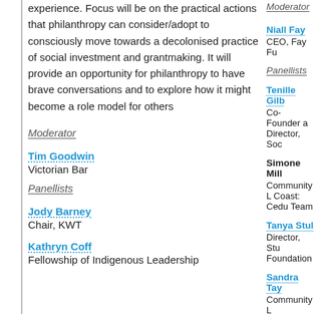experience. Focus will be on the practical actions that philanthropy can consider/adopt to consciously move towards a decolonised practice of social investment and grantmaking. It will provide an opportunity for philanthropy to have brave conversations and to explore how it might become a role model for others
Moderator
Tim Goodwin
Victorian Bar
Panellists
Jody Barney
Chair, KWT
Kathryn Coff
Fellowship of Indigenous Leadership
Moderator
Niall Fay
CEO, Fay Fu
Panellists
Tenille Gilb
Co-Founder a Director, Soc
Simone Mill
Community L Coast: Cedu Team
Tanya Stul
Director, Stu Foundation
Sandra Tay
Community L